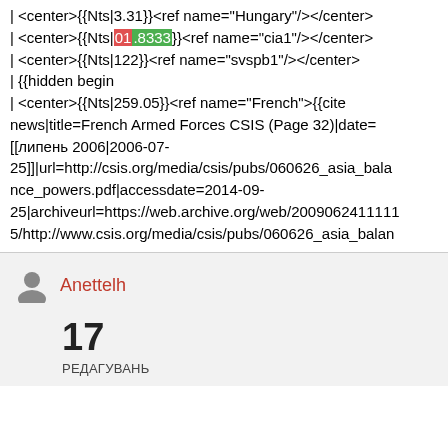| <center>{{Nts|3.31}}<ref name="Hungary"/></center>
| <center>{{Nts|01.8333}}<ref name="cia1"/></center>
| <center>{{Nts|122}}<ref name="svspb1"/></center>
| {{hidden begin
| <center>{{Nts|259.05}}<ref name="French">{{cite news|title=French Armed Forces CSIS (Page 32)|date=[[липень 2006|2006-07-25]]|url=http://csis.org/media/csis/pubs/060626_asia_balance_powers.pdf|accessdate=2014-09-25|archiveurl=https://web.archive.org/web/20090624111115/http://www.csis.org/media/csis/pubs/060626_asia_balan
Anettelh
17
РЕДАГУВАНЬ